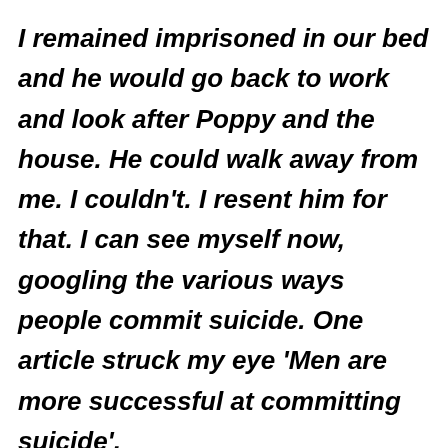I remained imprisoned in our bed and he would go back to work and look after Poppy and the house. He could walk away from me. I couldn't. I resent him for that. I can see myself now, googling the various ways people commit suicide. One article struck my eye 'Men are more successful at committing suicide'.

They don't mess about with poisoning